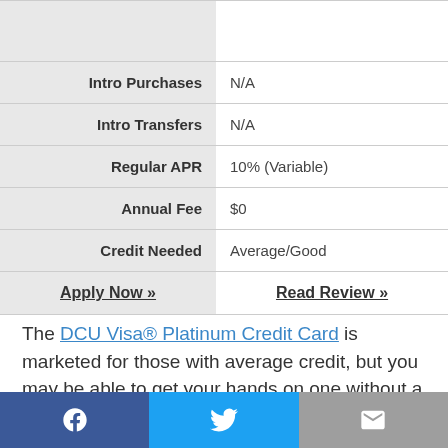|  |  |
| --- | --- |
| Intro Purchases | N/A |
| Intro Transfers | N/A |
| Regular APR | 10% (Variable) |
| Annual Fee | $0 |
| Credit Needed | Average/Good |
| Apply Now » | Read Review » |
The DCU Visa® Platinum Credit Card is marketed for those with average credit, but you may be able to get your hands on one without a credit score at all. Credit